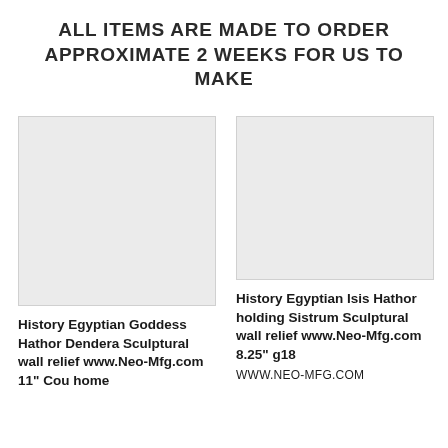ALL ITEMS ARE MADE TO ORDER APPROXIMATE 2 WEEKS FOR US TO MAKE
[Figure (photo): Blank/placeholder product image for History Egyptian Goddess Hathor Dendera Sculptural wall relief]
History Egyptian Goddess Hathor Dendera Sculptural wall relief www.Neo-Mfg.com 11" Cou home
[Figure (photo): Blank/placeholder product image for History Egyptian Isis Hathor holding Sistrum Sculptural wall relief]
History Egyptian Isis Hathor holding Sistrum Sculptural wall relief www.Neo-Mfg.com 8.25" g18 WWW.NEO-MFG.COM